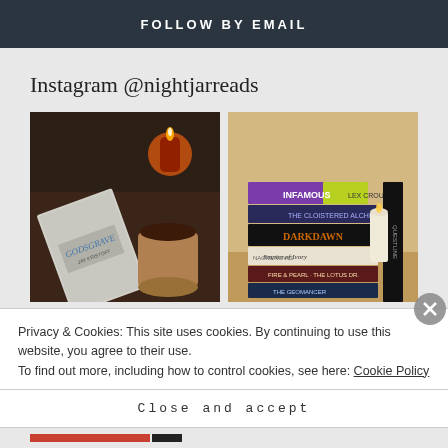FOLLOW BY EMAIL
Instagram @nightjarreads
[Figure (photo): Overhead shot of book 'Godsgrave by Jay Kristoff' on dark table with lit orange candle and ceramic mug with coffee]
[Figure (photo): Stack of books including Infamous, Darkdawn, Empire of Ivory, The Geomancer, and others on wooden surface with candle]
Privacy & Cookies: This site uses cookies. By continuing to use this website, you agree to their use.
To find out more, including how to control cookies, see here: Cookie Policy
Close and accept